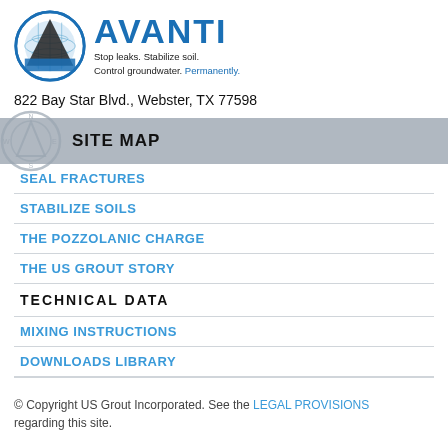[Figure (logo): Avanti logo with triangle/globe icon and tagline 'Stop leaks. Stabilize soil. Control groundwater. Permanently.']
822 Bay Star Blvd., Webster, TX 77598
SITE MAP
SEAL FRACTURES
STABILIZE SOILS
THE POZZOLANIC CHARGE
THE US GROUT STORY
TECHNICAL DATA
MIXING INSTRUCTIONS
DOWNLOADS LIBRARY
© Copyright US Grout Incorporated. See the LEGAL PROVISIONS regarding this site.